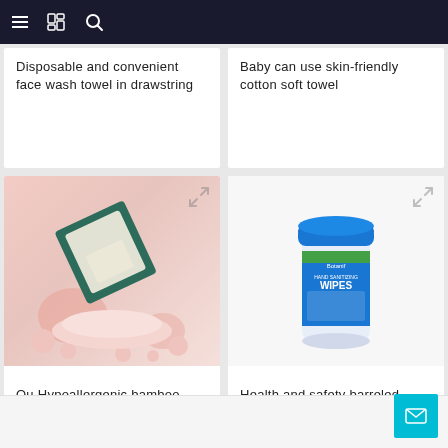Navigation bar with menu, bookmark, and search icons
Disposable and convenient face wash towel in drawstring
Baby can use skin-friendly cotton soft towel
[Figure (photo): Product photo: face wash towel package on pink background with decorative spheres]
Ou Hypoallergenic bamboo fiber face towel
[Figure (photo): Product photo: Botanif Hand Sanitizing Wipes container with blue lid]
Health and safety barreled cotton soft towel roll type